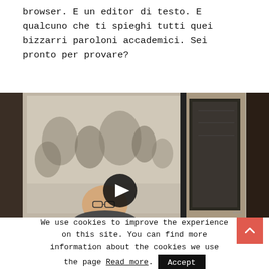browser. E un editor di testo. E qualcuno che ti spieghi tutti quei bizzarri paroloni accademici. Sei pronto per provare?
[Figure (photo): A video screenshot showing a man with glasses in the foreground and a large black-and-white historical photograph on the wall behind him. A black circular play button overlay is visible.]
We use cookies to improve the experience on this site. You can find more information about the cookies we use the page Read more. Accept